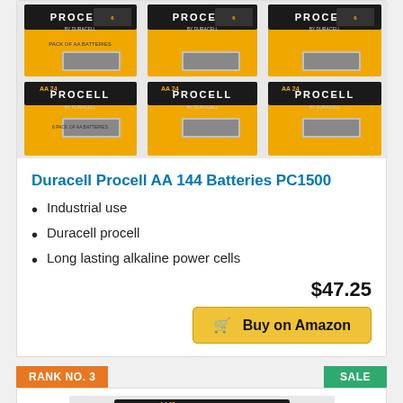[Figure (photo): Six packs of Duracell Procell AA batteries arranged in a 2x3 grid on orange background]
Duracell Procell AA 144 Batteries PC1500
Industrial use
Duracell procell
Long lasting alkaline power cells
$47.25
Buy on Amazon
RANK NO. 3
SALE
[Figure (photo): Duracell AA48 battery pack with GUARANTEED 10 YEARS label on orange/black background]